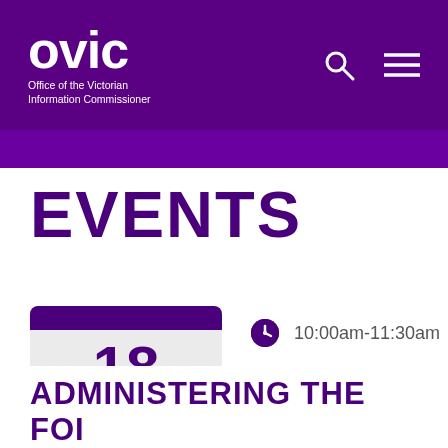OVIC Office of the Victorian Information Commissioner
EVENTS
[Figure (infographic): Calendar icon showing date 18 May 2021]
10:00am-11:30am
Australia
ADMINISTERING THE FOI